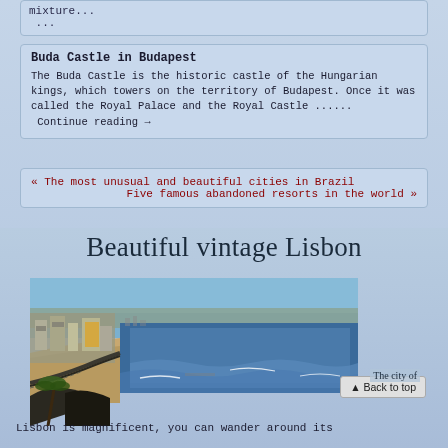mixture...
 ...
Buda Castle in Budapest
The Buda Castle is the historic castle of the Hungarian kings, which towers on the territory of Budapest. Once it was called the Royal Palace and the Royal Castle ...... Continue reading →
« The most unusual and beautiful cities in Brazil
Five famous abandoned resorts in the world »
Beautiful vintage Lisbon
[Figure (photo): Aerial/elevated view of Lisbon coastal area with beach, ocean waves, buildings, palm trees, and railway tracks]
▲ Back to top
The city of
Lisbon is magnificent, you can wander around its